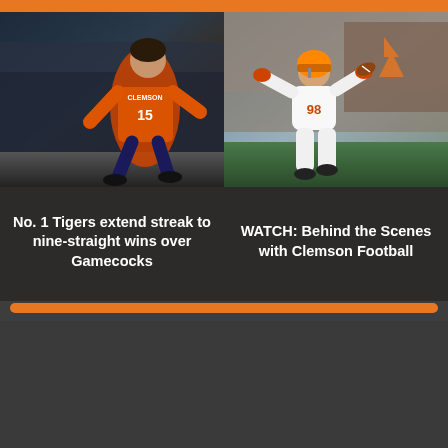[Figure (photo): Soccer player in Clemson orange jersey dribbling]
No. 1 Tigers extend streak to nine-straight wins over Gamecocks
[Figure (photo): Clemson football player in white uniform running with ball at practice]
WATCH: Behind the Scenes with Clemson Football